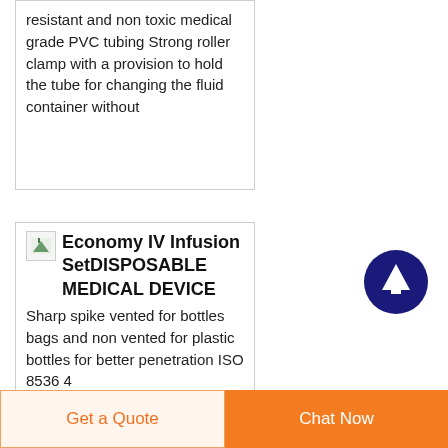resistant and non toxic medical grade PVC tubing Strong roller clamp with a provision to hold the tube for changing the fluid container without
Economy IV Infusion SetDISPOSABLE MEDICAL DEVICE
Sharp spike vented for bottles bags and non vented for plastic bottles for better penetration ISO 8536 4
Get a Quote
Chat Now